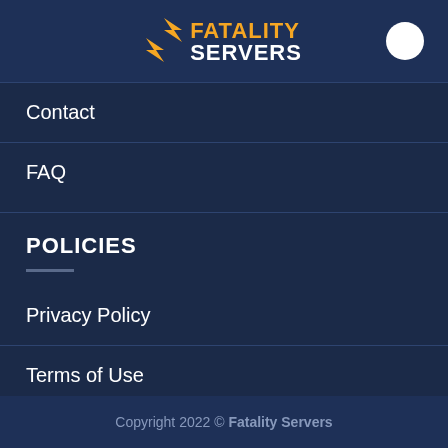FATALITY SERVERS
Contact
FAQ
POLICIES
Privacy Policy
Terms of Use
Linking Policy
Anti-Spam
Copyright 2022 © Fatality Servers